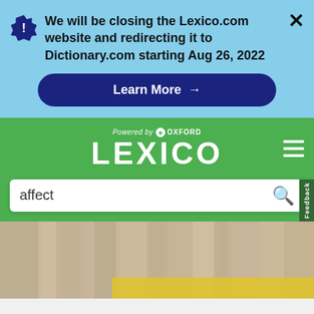We will be closing the Lexico.com website and redirecting it to Dictionary.com starting Aug 26, 2022
Learn More →
[Figure (logo): Lexico logo — Powered by Oxford, white text on green background with hamburger menu]
affect
[Figure (photo): Blurred photo of books on a shelf with a yellow object, serving as decorative background image]